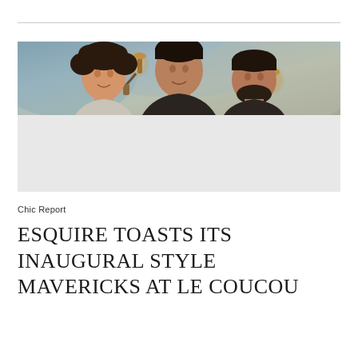[Figure (photo): Three men posing for a photo inside a restaurant with decorative wall sconces and a painted/textured wall background. The lower half of the photo area is a light gray rectangle.]
Chic Report
ESQUIRE TOASTS ITS INAUGURAL STYLE MAVERICKS AT LE COUCOU